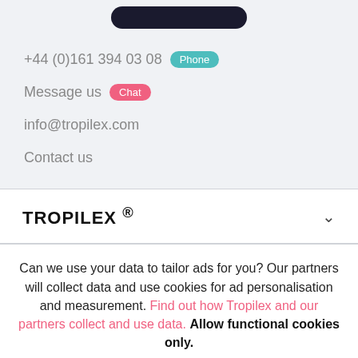[Figure (other): Dark rounded button bar at top of page]
+44 (0)161 394 03 08  Phone
Message us  Chat
info@tropilex.com
Contact us
TROPILEX ®
Can we use your data to tailor ads for you? Our partners will collect data and use cookies for ad personalisation and measurement. Find out how Tropilex and our partners collect and use data. Allow functional cookies only.
OK